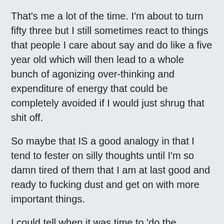That's me a lot of the time. I'm about to turn fifty three but I still sometimes react to things that people I care about say and do like a five year old which will then lead to a whole bunch of agonizing over-thinking and expenditure of energy that could be completely avoided if I would just shrug that shit off.
So maybe that IS a good analogy in that I tend to fester on silly thoughts until I'm so damn tired of them that I am at last good and ready to fucking dust and get on with more important things.
I could tell when it was time to 'do the dusting' by the seemingly small miracles that nudged me toward clear headedness:
A long run on my (dusty) treadmill where on the